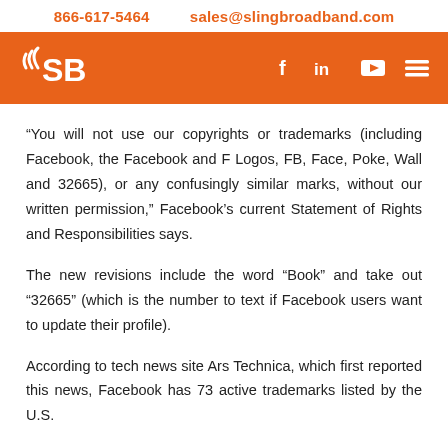866-617-5464    sales@slingbroadband.com
[Figure (logo): Sling Broadband logo (SB in white on orange banner) with social media icons: Facebook, LinkedIn, YouTube, and hamburger menu]
“You will not use our copyrights or trademarks (including Facebook, the Facebook and F Logos, FB, Face, Poke, Wall and 32665), or any confusingly similar marks, without our written permission,” Facebook’s current Statement of Rights and Responsibilities says.
The new revisions include the word “Book” and take out “32665” (which is the number to text if Facebook users want to update their profile).
According to tech news site Ars Technica, which first reported this news, Facebook has 73 active trademarks listed by the U.S.